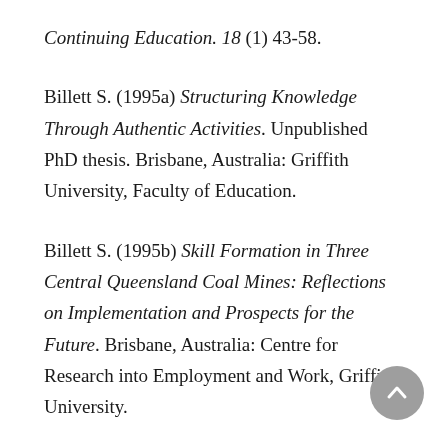Continuing Education. 18 (1) 43-58.
Billett S. (1995a) Structuring Knowledge Through Authentic Activities. Unpublished PhD thesis. Brisbane, Australia: Griffith University, Faculty of Education.
Billett S. (1995b) Skill Formation in Three Central Queensland Coal Mines: Reflections on Implementation and Prospects for the Future. Brisbane, Australia: Centre for Research into Employment and Work, Griffith University.